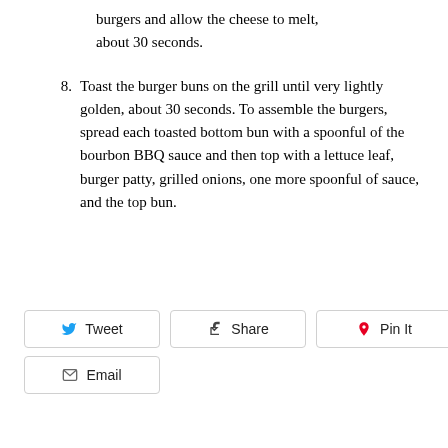burgers and allow the cheese to melt, about 30 seconds.
8. Toast the burger buns on the grill until very lightly golden, about 30 seconds. To assemble the burgers, spread each toasted bottom bun with a spoonful of the bourbon BBQ sauce and then top with a lettuce leaf, burger patty, grilled onions, one more spoonful of sauce, and the top bun.
Tweet  Share  Pin It  Email